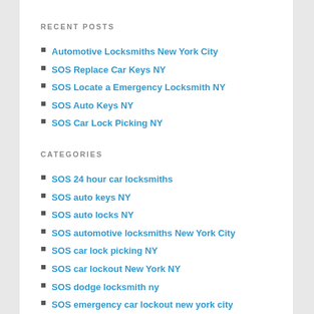RECENT POSTS
Automotive Locksmiths New York City
SOS Replace Car Keys NY
SOS Locate a Emergency Locksmith NY
SOS Auto Keys NY
SOS Car Lock Picking NY
CATEGORIES
SOS 24 hour car locksmiths
SOS auto keys NY
SOS auto locks NY
SOS automotive locksmiths New York City
SOS car lock picking NY
SOS car lockout New York NY
SOS dodge locksmith ny
SOS emergency car lockout new york city
SOS keyless door locks NY
SOS local 24 hour locksmith New York City
SOS locate a Emergency locksmith NY